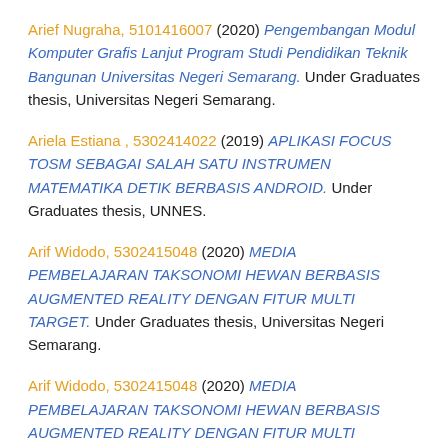Arief Nugraha, 5101416007 (2020) Pengembangan Modul Komputer Grafis Lanjut Program Studi Pendidikan Teknik Bangunan Universitas Negeri Semarang. Under Graduates thesis, Universitas Negeri Semarang.
Ariela Estiana , 5302414022 (2019) APLIKASI FOCUS TOSM SEBAGAI SALAH SATU INSTRUMEN MATEMATIKA DETIK BERBASIS ANDROID. Under Graduates thesis, UNNES.
Arif Widodo, 5302415048 (2020) MEDIA PEMBELAJARAN TAKSONOMI HEWAN BERBASIS AUGMENTED REALITY DENGAN FITUR MULTI TARGET. Under Graduates thesis, Universitas Negeri Semarang.
Arif Widodo, 5302415048 (2020) MEDIA PEMBELAJARAN TAKSONOMI HEWAN BERBASIS AUGMENTED REALITY DENGAN FITUR MULTI TARGET. Under Graduates thesis,